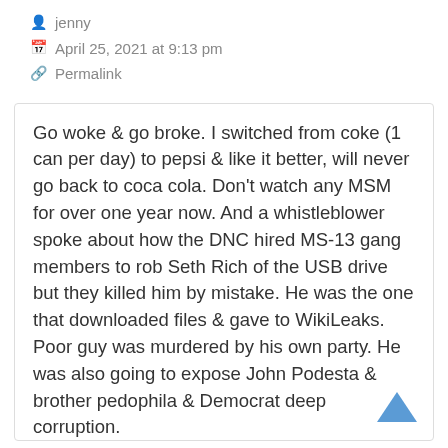jenny
April 25, 2021 at 9:13 pm
Permalink
Go woke & go broke. I switched from coke (1 can per day) to pepsi & like it better, will never go back to coca cola. Don't watch any MSM for over one year now. And a whistleblower spoke about how the DNC hired MS-13 gang members to rob Seth Rich of the USB drive but they killed him by mistake. He was the one that downloaded files & gave to WikiLeaks. Poor guy was murdered by his own party. He was also going to expose John Podesta & brother pedophila & Democrat deep corruption.
btw, there was a huge, peaceful protest in London on Sat 24th & BBC didn't cover it...later they lied & said there were about 5 k crazy Q